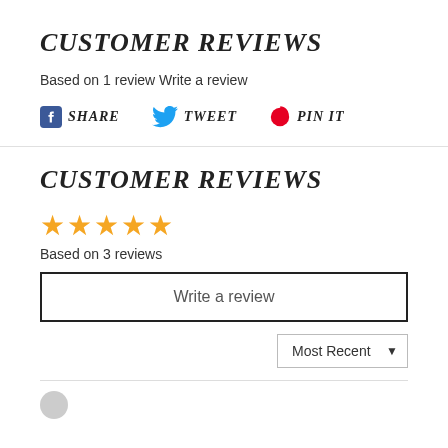CUSTOMER REVIEWS
Based on 1 review Write a review
SHARE  TWEET  PIN IT
CUSTOMER REVIEWS
★★★★★ Based on 3 reviews
Write a review
Most Recent